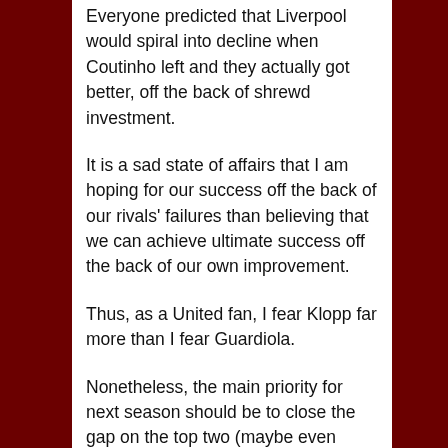Everyone predicted that Liverpool would spiral into decline when Coutinho left and they actually got better, off the back of shrewd investment.
It is a sad state of affairs that I am hoping for our success off the back of our rivals' failures than believing that we can achieve ultimate success off the back of our own improvement.
Thus, as a United fan, I fear Klopp far more than I fear Guardiola.
Nonetheless, the main priority for next season should be to close the gap on the top two (maybe even sneak into 2nd if one of them have a bad year) and have a decent CL run.
In theory a 'decent' run would be getting to the quarters,